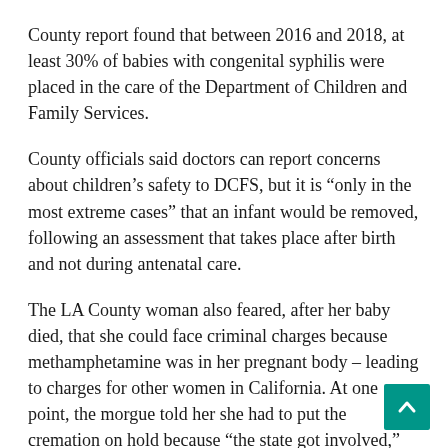County report found that between 2016 and 2018, at least 30% of babies with congenital syphilis were placed in the care of the Department of Children and Family Services.
County officials said doctors can report concerns about children's safety to DCFS, but it is “only in the most extreme cases” that an infant would be removed, following an assessment that takes place after birth and not during antenatal care.
The LA County woman also feared, after her baby died, that she could face criminal charges because methamphetamine was in her pregnant body – leading to charges for other women in California. At one point, the morgue told her she had to put the cremation on hold because “the state got involved,” but no charges followed, she said.
Some experts see the resurgence of the disease as a symptom of poor sexual health. Jeffrey Klausner, clinical professor of population and public health sciences at USC’s Keck School of